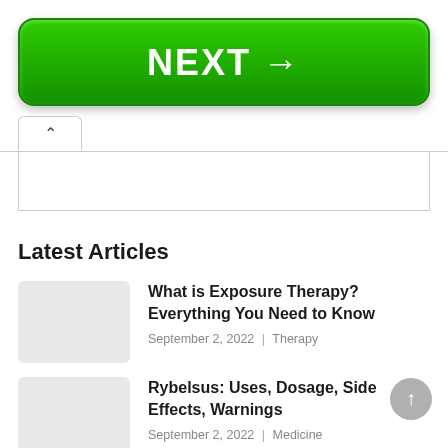[Figure (other): Green NEXT button with right arrow]
[Figure (other): Tab bar with up-caret tab and white content box]
Latest Articles
What is Exposure Therapy? Everything You Need to Know
September 2, 2022 | Therapy
Rybelsus: Uses, Dosage, Side Effects, Warnings
September 2, 2022 | Medicine